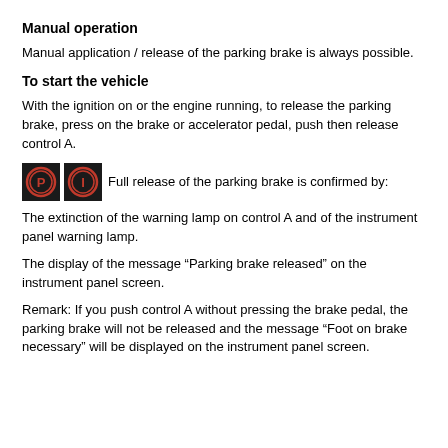Manual operation
Manual application / release of the parking brake is always possible.
To start the vehicle
With the ignition on or the engine running, to release the parking brake, press on the brake or accelerator pedal, push then release control A.
[Figure (illustration): Two black square icon buttons with red circular symbols: a P in a circle and an I in a circle, indicating parking brake warning indicators. Full release of the parking brake is confirmed by:]
The extinction of the warning lamp on control A and of the instrument panel warning lamp.
The display of the message “Parking brake released” on the instrument panel screen.
Remark: If you push control A without pressing the brake pedal, the parking brake will not be released and the message “Foot on brake necessary” will be displayed on the instrument panel screen.